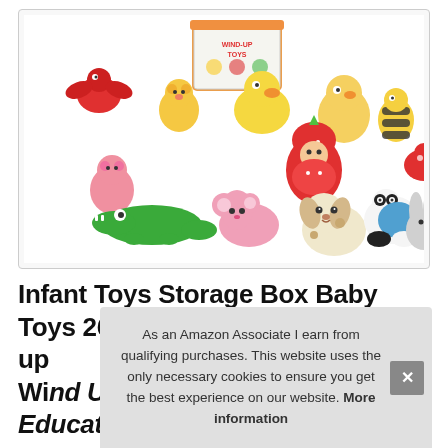[Figure (photo): A collection of colorful wind-up toy figures including animals and characters — dragon, duck, chick, baby doll in strawberry costume, bee, cat, crocodile, mouse, puppy, panda dog, rabbit — displayed in front of a plastic storage container box labeled 'Wind-Up Toys'.]
Infant Toys Storage Box Baby Toys 26 Mo... up... Wi... Up Toy, Baby Early Education...
As an Amazon Associate I earn from qualifying purchases. This website uses the only necessary cookies to ensure you get the best experience on our website. More information